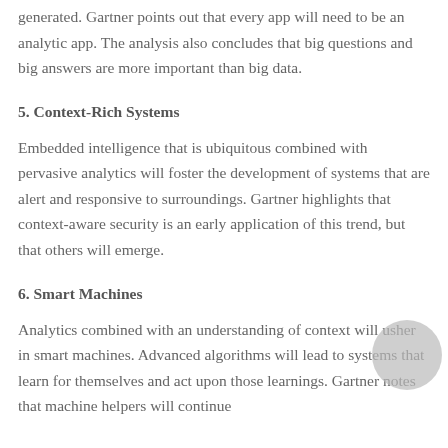generated. Gartner points out that every app will need to be an analytic app. The analysis also concludes that big questions and big answers are more important than big data.
5. Context-Rich Systems
Embedded intelligence that is ubiquitous combined with pervasive analytics will foster the development of systems that are alert and responsive to surroundings. Gartner highlights that context-aware security is an early application of this trend, but that others will emerge.
6. Smart Machines
Analytics combined with an understanding of context will usher in smart machines. Advanced algorithms will lead to systems that learn for themselves and act upon those learnings. Gartner notes that machine helpers will continue